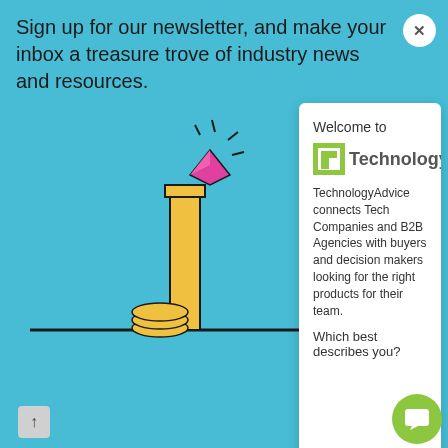Sign up for our newsletter, and make your inbox a treasure trove of industry news and resources.
[Figure (screenshot): Newsletter signup modal popup overlaying a website. The popup shows the TechnologyAdvice logo and description, with a 'Which best describes you?' prompt. Below are checkbox options for newsletter categories including The B2B Smarketer, IT Weekly, and HR Digest.]
Welcome to
[Figure (logo): TechnologyAdvice logo with green TA icon and gray/green text]
TechnologyAdvice connects Tech Companies and B2B Agencies with buyers and decision makers looking for the right products for their team.
Which best describes you?
The B2B Smarketer
Weekly sales and marketing content for demand gen
IT Weekly
The latest business technology news, plus in-de... resources
HR Digest